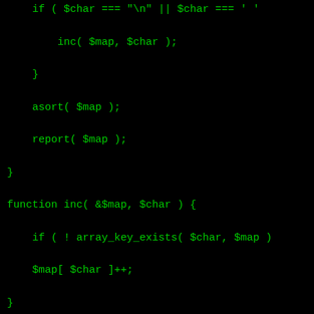if ( $char === "\n" || $char === ' '

        inc( $map, $char );

    }

    asort( $map );

    report( $map );

}

function inc( &$map, $char ) {

    if ( ! array_key_exists( $char, $map )

    $map[ $char ]++;

}

function report( $map ) {

    echo "size: " . count( $map ) . "\n";